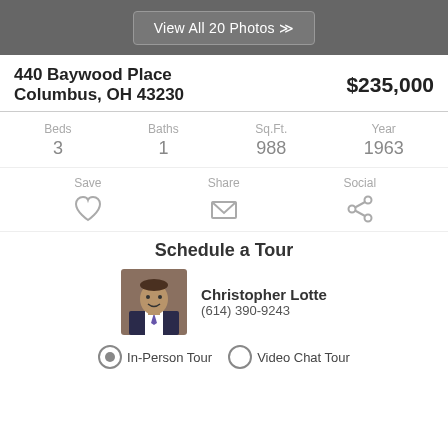View All 20 Photos
440 Baywood Place
Columbus, OH 43230
$235,000
| Beds | Baths | Sq.Ft. | Year |
| --- | --- | --- | --- |
| 3 | 1 | 988 | 1963 |
Save | Share | Social
Schedule a Tour
Christopher Lotte
(614) 390-9243
In-Person Tour  Video Chat Tour